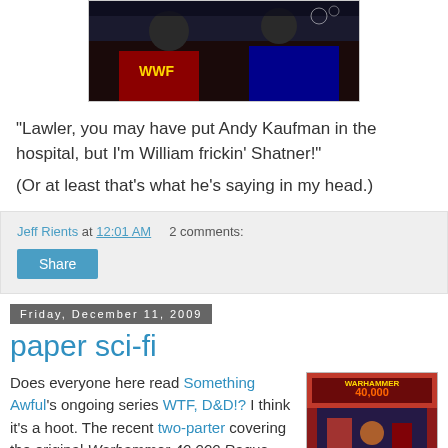[Figure (photo): Photograph of two people at a WWF wrestling event, partially cropped at top]
"Lawler, you may have put Andy Kaufman in the hospital, but I'm William frickin' Shatner!"
(Or at least that's what he's saying in my head.)
Jeff Rients at 12:01 AM   2 comments:
Share
Friday, December 11, 2009
paper sci-fi
Does everyone here read Something Awful's ongoing series WTF, D&D!? I think it's a hoot. The recent two-parter covering the original Warhammer 40,000 Rogue Trader was a stroll down
[Figure (photo): Book cover of Warhammer 40,000 Rogue Trader]